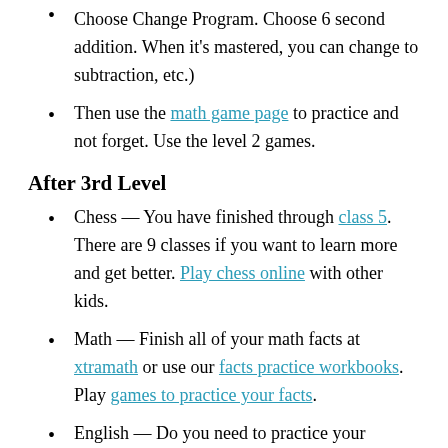Choose Change Program. Choose 6 second addition. When it's mastered, you can change to subtraction, etc.)
Then use the math game page to practice and not forget. Use the level 2 games.
After 3rd Level
Chess — You have finished through class 5. There are 9 classes if you want to learn more and get better. Play chess online with other kids.
Math — Finish all of your math facts at xtramath or use our facts practice workbooks. Play games to practice your facts.
English — Do you need to practice your handwriting? The more you practice the quicker you will get at it and the easier it will be for